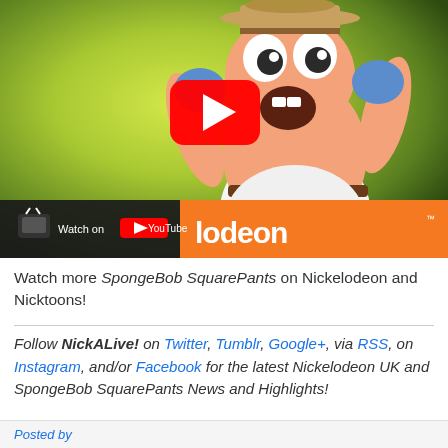[Figure (screenshot): YouTube video thumbnail showing Patrick Star from SpongeBob SquarePants dressed as a cowboy/sheriff with arms raised and surprised expression, with a YouTube play button overlay and a 'Watch on YouTube' bar at bottom left and Nickelodeon orange logo bar at bottom right]
Watch more SpongeBob SquarePants on Nickelodeon and Nicktoons!
Follow NickALive! on Twitter, Tumblr, Google+, via RSS, on Instagram, and/or Facebook for the latest Nickelodeon UK and SpongeBob SquarePants News and Highlights!
Posted by